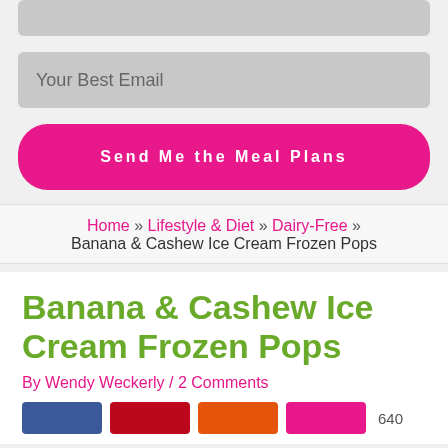[Figure (screenshot): Gray input field bar at top of page]
Your Best Email
Send Me the Meal Plans
Home » Lifestyle & Diet » Dairy-Free » Banana & Cashew Ice Cream Frozen Pops
Banana & Cashew Ice Cream Frozen Pops
By Wendy Weckerly / 2 Comments
[Figure (other): Social share buttons: Facebook, Pinterest, Yummly, and one more. Share count 640 visible.]